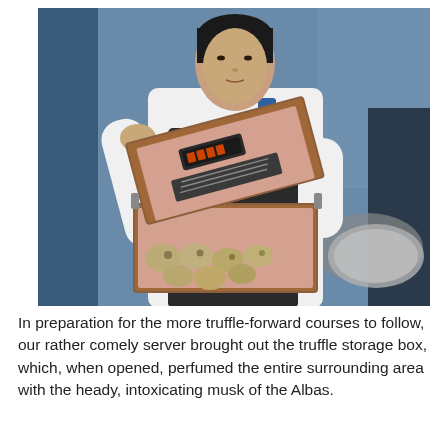[Figure (photo): A server in a white shirt and dark apron holds open a wooden truffle storage box, displaying white truffles inside. The setting appears to be an upscale restaurant with blue ambient lighting in the background.]
In preparation for the more truffle-forward courses to follow, our rather comely server brought out the truffle storage box, which, when opened, perfumed the entire surrounding area with the heady, intoxicating musk of the Albas.